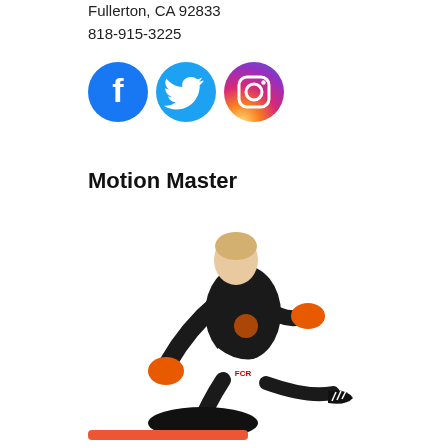Fullerton, CA 92833
818-915-3225
[Figure (illustration): Three social media icons: Facebook (blue circle with white f), Twitter (light blue circle with white bird), Instagram (gradient purple-pink-orange circle with white camera icon)]
Motion Master
[Figure (photo): A person in a black shirt, white shorts, and orange boxing gloves/pads, kneeling and punching or pressing down on a black pad on the ground, wearing black Adidas shoes]